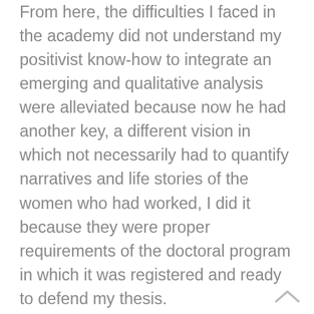From here, the difficulties I faced in the academy did not understand my positivist know-how to integrate an emerging and qualitative analysis were alleviated because now he had another key, a different vision in which not necessarily had to quantify narratives and life stories of the women who had worked, I did it because they were proper requirements of the doctoral program in which it was registered and ready to defend my thesis.
However, Isabel was opened with a covenant and a commitment: self teach my workshops with PhD students so that together we could analyze and theorize the life stories of his